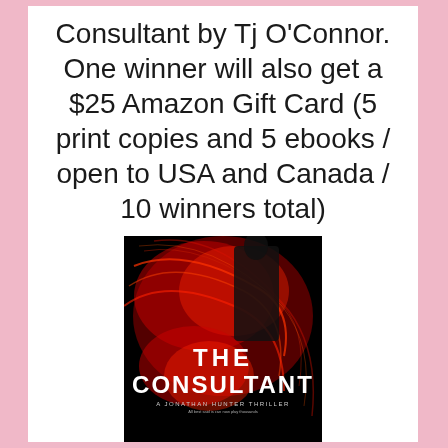Consultant by Tj O'Connor. One winner will also get a $25 Amazon Gift Card (5 print copies and 5 ebooks / open to USA and Canada / 10 winners total)
[Figure (illustration): Book cover of 'The Consultant' - a Jonathan Hunter Thriller by Tj O'Connor. Dark background with red dramatic lighting/swirling effects and silhouetted figure. White bold text reads 'THE CONSULTANT' with subtitle 'A JONATHAN HUNTER THRILLER'.]